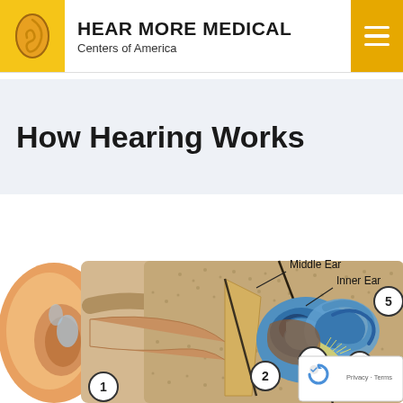HEAR MORE MEDICAL Centers of America
How Hearing Works
[Figure (illustration): Cross-sectional anatomical diagram of the human ear showing the outer ear, ear canal, and inner structures. Labeled regions include Middle Ear and Inner Ear with numbered callouts: 1 (outer ear canal), 2 (eardrum/tympanic membrane area), 3 (middle ear ossicles), 4 (partially visible), and 5 (inner structure). The diagram uses peach/orange tones for outer ear, beige/tan for bony structures, and blue for fluid-filled inner ear components. A recaptcha badge appears in the lower right corner reading 'Privacy · Terms'.]